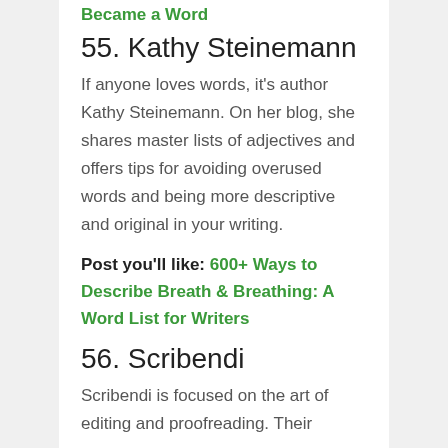Became a Word
55. Kathy Steinemann
If anyone loves words, it's author Kathy Steinemann. On her blog, she shares master lists of adjectives and offers tips for avoiding overused words and being more descriptive and original in your writing.
Post you'll like: 600+ Ways to Describe Breath & Breathing: A Word List for Writers
56. Scribendi
Scribendi is focused on the art of editing and proofreading. Their